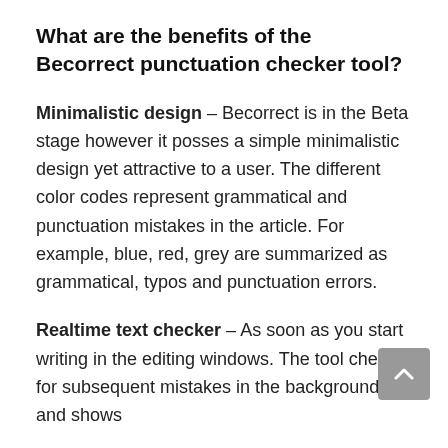What are the benefits of the Becorrect punctuation checker tool?
Minimalistic design – Becorrect is in the Beta stage however it posses a simple minimalistic design yet attractive to a user. The different color codes represent grammatical and punctuation mistakes in the article. For example, blue, red, grey are summarized as grammatical, typos and punctuation errors.
Realtime text checker – As soon as you start writing in the editing windows. The tool checks for subsequent mistakes in the background and shows